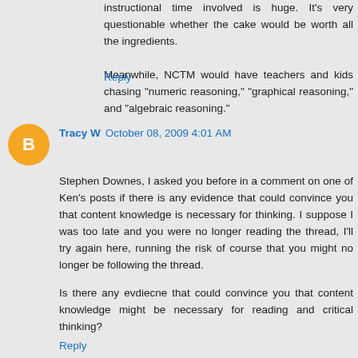instructional time involved is huge. It's very questionable whether the cake would be worth all the ingredients.
Meanwhile, NCTM would have teachers and kids chasing "numeric reasoning," "graphical reasoning," and "algebraic reasoning."
Reply
Tracy W  October 08, 2009 4:01 AM
Stephen Downes, I asked you before in a comment on one of Ken's posts if there is any evidence that could convince you that content knowledge is necessary for thinking. I suppose I was too late and you were no longer reading the thread, I'll try again here, running the risk of course that you might no longer be following the thread.
Is there any evdiecne that could convince you that content knowledge might be necessary for reading and critical thinking?
Reply